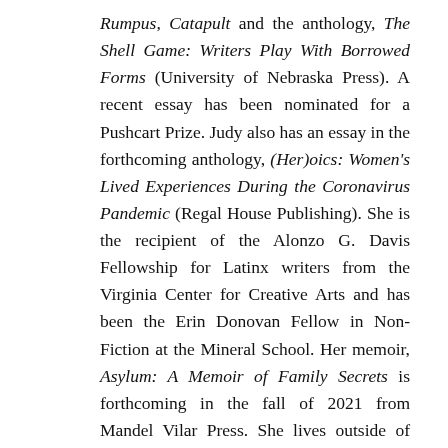Rumpus, Catapult and the anthology, The Shell Game: Writers Play With Borrowed Forms (University of Nebraska Press). A recent essay has been nominated for a Pushcart Prize. Judy also has an essay in the forthcoming anthology, (Her)oics: Women's Lived Experiences During the Coronavirus Pandemic (Regal House Publishing). She is the recipient of the Alonzo G. Davis Fellowship for Latinx writers from the Virginia Center for Creative Arts and has been the Erin Donovan Fellow in Non-Fiction at the Mineral School. Her memoir, Asylum: A Memoir of Family Secrets is forthcoming in the fall of 2021 from Mandel Vilar Press. She lives outside of Boston with her family.